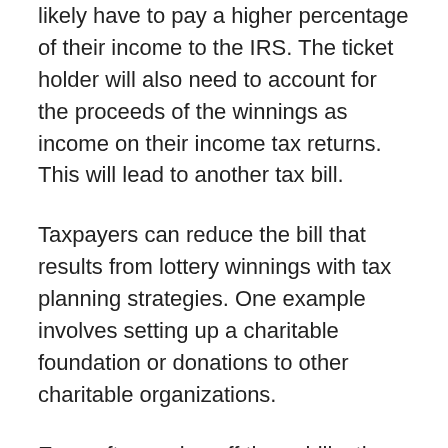likely have to pay a higher percentage of their income to the IRS. The ticket holder will also need to account for the proceeds of the winnings as income on their income tax returns. This will lead to another tax bill.
Taxpayers can reduce the bill that results from lottery winnings with tax planning strategies. One example involves setting up a charitable foundation or donations to other charitable organizations.
Even after paying off these bills, the winner will still experience a significant windfall. As a result, it is a good idea to bring in a team of professionals to help navigate the impact of the funds and better ensure they are used wisely—so they do